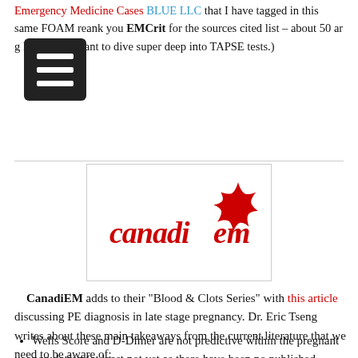Emergency Medicine Cases that I have tagged in this same FOAM re...ank you EMCrit for the sources cited list – about 50 ar...g here if you want to dive super deep into TAPSE tests.)
[Figure (logo): CanadiEM logo – red maple leaf with cursive red text 'canadiem' inside a bordered rectangle]
CanadiEM adds to their "Blood & Clots Series" with this article discussing PE diagnosis in late stage pregnancy. Dr. Eric Tseng writes about these main takeaways from the current literature that we need to be aware of:
Wells Score and D-Dimer are not predictive within the pregnant population (at least not yet as there have been no published studies confirming utility) so we cannot be effectively utilizing those prognostic